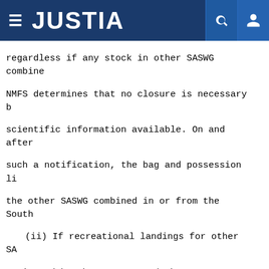JUSTIA
regardless if any stock in other SASWG combined NMFS determines that no closure is necessary based on scientific information available. On and after such a notification, the bag and possession limit for the other SASWG combined in or from the South. (ii) If recreational landings for other SASWG, estimated by the SRD, exceed the recreational following fishing year recreational landings with persistence in increased landings, and if necessary notification with the Office of the Federal Register length of the recreational fishing season and the amount of the recreational ACL overage, if species in other SASWG combined is overfished Status of U.S. Fisheries Report to Congress, and commercial and recreational ACL of 104,190 lb during the same fishing year. NMFS will use the information available to determine if reducing